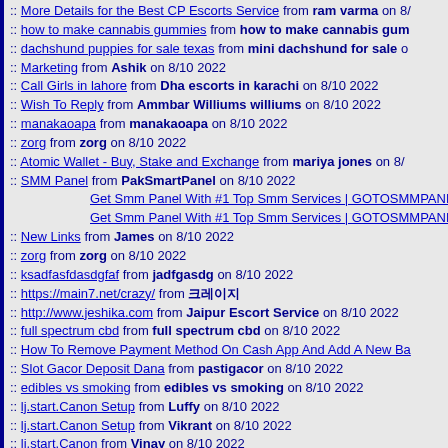:: More Details for the Best CP Escorts Service from ram varma on 8/...
:: how to make cannabis gummies from how to make cannabis gum...
:: dachshund puppies for sale texas from mini dachshund for sale o...
:: Marketing from Ashik on 8/10 2022
:: Call Girls in lahore from Dha escorts in karachi on 8/10 2022
:: Wish To Reply from Ammbar Williums williums on 8/10 2022
:: manakaoapa from manakaoapa on 8/10 2022
:: zorg from zorg on 8/10 2022
:: Atomic Wallet - Buy, Stake and Exchange from mariya jones on 8/...
:: SMM Panel from PakSmartPanel on 8/10 2022
Get Smm Panel With #1 Top Smm Services | GOTOSMMPANE...
Get Smm Panel With #1 Top Smm Services | GOTOSMMPANE...
:: New Links from James on 8/10 2022
:: zorg from zorg on 8/10 2022
:: ksadfasfdasdgfaf from jadfgasdg on 8/10 2022
:: https://main7.net/crazy/ from &#53356;&#47112;&#51060;&#5164...
:: http://www.jeshika.com from Jaipur Escort Service on 8/10 2022
:: full spectrum cbd from full spectrum cbd on 8/10 2022
:: How To Remove Payment Method On Cash App And Add A New Ba...
:: Slot Gacor Deposit Dana from pastigacor on 8/10 2022
:: edibles vs smoking from edibles vs smoking on 8/10 2022
:: lj.start.Canon Setup from Luffy on 8/10 2022
:: lj.start.Canon Setup from Vikrant on 8/10 2022
:: lj.start.Canon from Vinay on 8/10 2022
:: lj.start.Canon from Danny on 8/10 2022
:: lj.start.Canon from Jarry on 8/10 2022
:: lj.start.Canon from smith on 8/10 2022
:: lj.start.Canon from David on 8/10 2022
:: lj.start.Canon from Danny on 8/10 2022
:: software from thomas clark on 8/10 2022